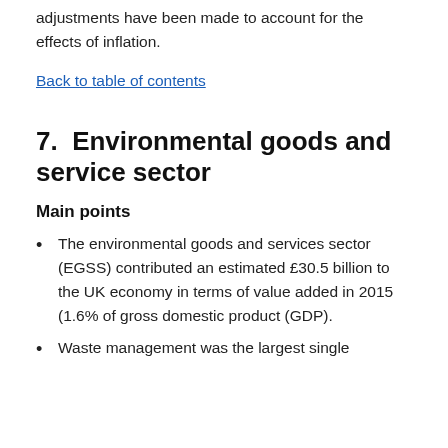adjustments have been made to account for the effects of inflation.
Back to table of contents
7.  Environmental goods and service sector
Main points
The environmental goods and services sector (EGSS) contributed an estimated £30.5 billion to the UK economy in terms of value added in 2015 (1.6% of gross domestic product (GDP).
Waste management was the largest single